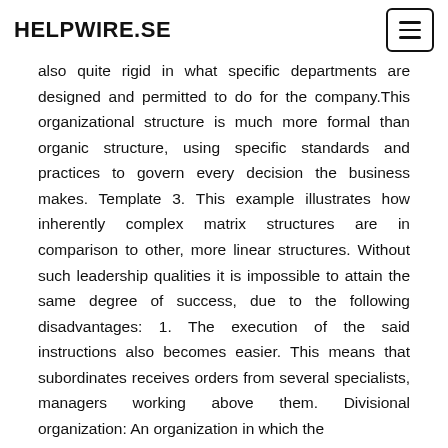HELPWIRE.SE
also quite rigid in what specific departments are designed and permitted to do for the company.This organizational structure is much more formal than organic structure, using specific standards and practices to govern every decision the business makes. Template 3. This example illustrates how inherently complex matrix structures are in comparison to other, more linear structures. Without such leadership qualities it is impossible to attain the same degree of success, due to the following disadvantages: 1. The execution of the said instructions also becomes easier. This means that subordinates receives orders from several specialists, managers working above them. Divisional organization: An organization in which the